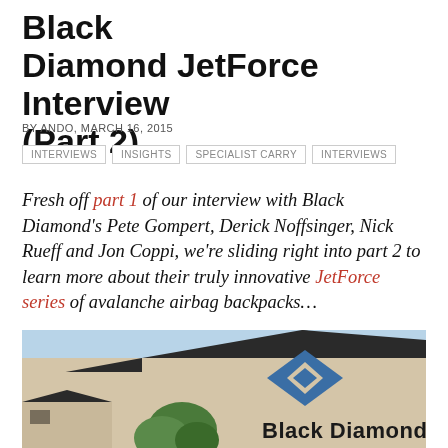Black Diamond JetForce Interview (Part 2)
BY ANDO, MARCH 16, 2015
INTERVIEWS
INSIGHTS
SPECIALIST CARRY
INTERVIEWS
Fresh off part 1 of our interview with Black Diamond's Pete Gompert, Derick Noffsinger, Nick Rueff and Jon Coppi, we're sliding right into part 2 to learn more about their truly innovative JetForce series of avalanche airbag backpacks…
[Figure (photo): Exterior photo of Black Diamond headquarters building showing the company logo — a blue diamond shape — and 'Black Diamond' text on a tan stucco building with a dark roof peak, trees in foreground, blue sky background.]